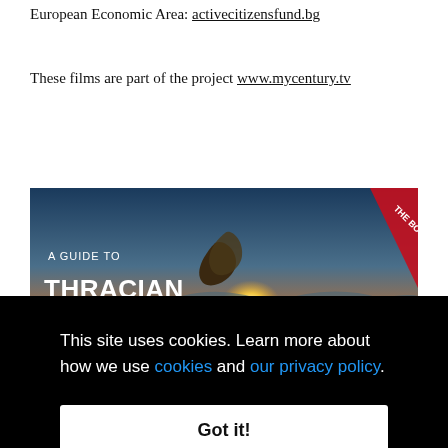European Economic Area: activecitizensfund.bg
These films are part of the project www.mycentury.tv
[Figure (photo): A Guide to Thracian Bulgaria book advertisement banner showing a sunset landscape with rocks and mountains, with text 'A GUIDE TO THRACIAN BULGARIA' and 'THE BOOK' on a red ribbon]
This site uses cookies. Learn more about how we use cookies and our privacy policy.
Got it!